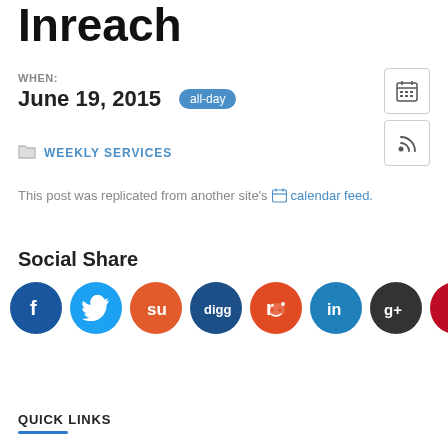Inreach
WHEN:
June 19, 2015  all-day
WEEKLY SERVICES
This post was replicated from another site's calendar feed.
Social Share
[Figure (illustration): Row of 8 social media share icons: Facebook (blue), Twitter (light blue), StumbleUpon (orange), Digg (dark blue), Reddit (red-orange), LinkedIn (blue), Google+ (dark gray), Pinterest (dark red)]
QUICK LINKS